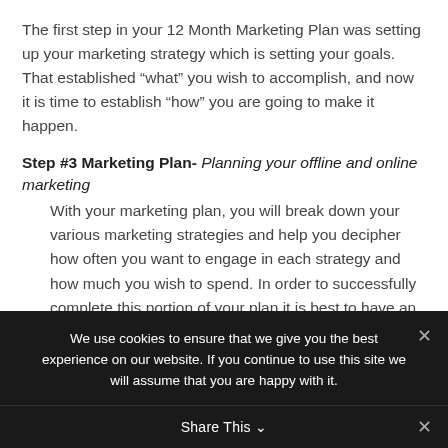The first step in your 12 Month Marketing Plan was setting up your marketing strategy which is setting your goals. That established “what” you wish to accomplish, and now it is time to establish “how” you are going to make it happen.
Step #3 Marketing Plan- Planning your offline and online marketing
With your marketing plan, you will break down your various marketing strategies and help you decipher how often you want to engage in each strategy and how much you wish to spend. In order to successfully complete this portion of your plan it is best to have an idea of your marketing
We use cookies to ensure that we give you the best experience on our website. If you continue to use this site we will assume that you are happy with it.
Share This